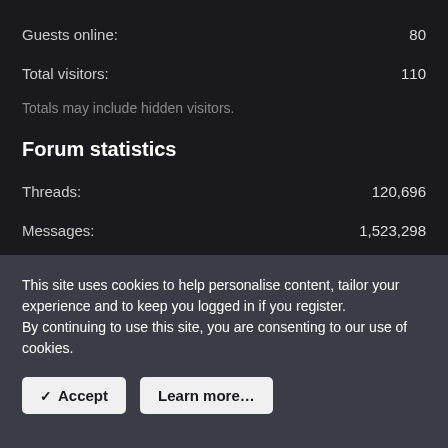Guests online: 80
Total visitors: 110
Totals may include hidden visitors.
Forum statistics
Threads: 120,696
Messages: 1,523,298
Members: 11,015
This site uses cookies to help personalise content, tailor your experience and to keep you logged in if you register.
By continuing to use this site, you are consenting to our use of cookies.
✓ Accept
Learn more...